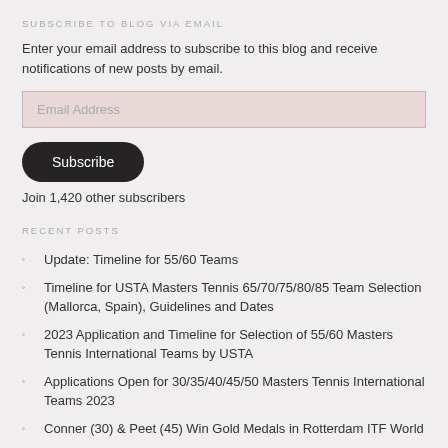SUBSCRIBE TO BLOG VIA EMAIL
Enter your email address to subscribe to this blog and receive notifications of new posts by email.
Email Address
Subscribe
Join 1,420 other subscribers
RECENT POSTS
Update: Timeline for 55/60 Teams
Timeline for USTA Masters Tennis 65/70/75/80/85 Team Selection (Mallorca, Spain), Guidelines and Dates
2023 Application and Timeline for Selection of 55/60 Masters Tennis International Teams by USTA
Applications Open for 30/35/40/45/50 Masters Tennis International Teams 2023
Conner (30) & Peet (45) Win Gold Medals in Rotterdam ITF World...